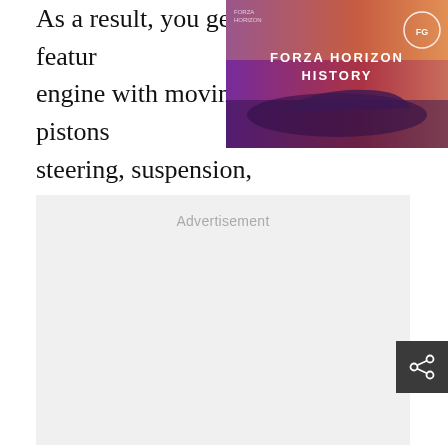As a result, you get feature engine with moving pistons steering, suspension, and precision cornering, theref worth considering if you're an F1 fan.
[Figure (screenshot): Forza Horizon History promotional thumbnail showing a race car with purple/orange gradient background and text 'FORZA HORIZON HISTORY' with an FG logo badge]
Advertisement